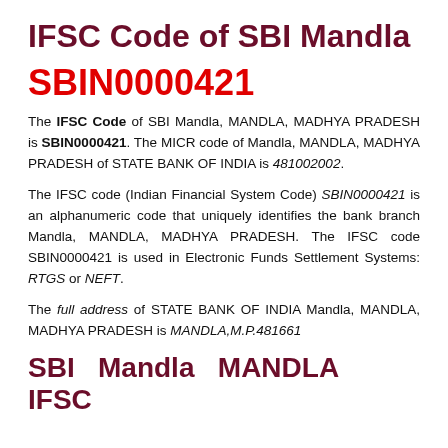IFSC Code of SBI Mandla
SBIN0000421
The IFSC Code of SBI Mandla, MANDLA, MADHYA PRADESH is SBIN0000421. The MICR code of Mandla, MANDLA, MADHYA PRADESH of STATE BANK OF INDIA is 481002002.
The IFSC code (Indian Financial System Code) SBIN0000421 is an alphanumeric code that uniquely identifies the bank branch Mandla, MANDLA, MADHYA PRADESH. The IFSC code SBIN0000421 is used in Electronic Funds Settlement Systems: RTGS or NEFT.
The full address of STATE BANK OF INDIA Mandla, MANDLA, MADHYA PRADESH is MANDLA,M.P.481661
SBI Mandla MANDLA IFSC